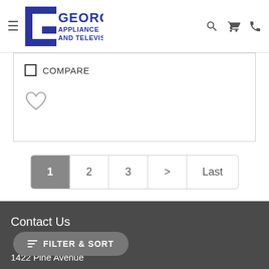George's Appliance and Television
COMPARE
[Figure (illustration): Heart/wishlist icon outline]
1  2  3  >  Last
Contact Us
1422 Pine Avenue
FILTER & SORT